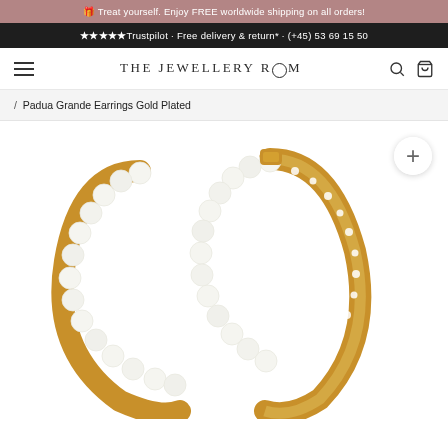🎁 Treat yourself. Enjoy FREE worldwide shipping on all orders!
★★★★★Trustpilot · Free delivery & return* · (+45) 53 69 15 50
THE JEWELLERY ROOM
/ Padua Grande Earrings Gold Plated
[Figure (photo): Gold plated hoop earrings with white pearl beads on the outer edge and crystal/diamond pavé on the inner face, shown as a pair overlapping on white background.]